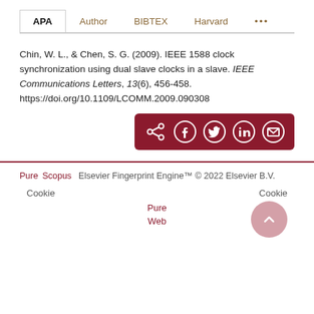APA | Author | BIBTEX | Harvard | ...
Chin, W. L., & Chen, S. G. (2009). IEEE 1588 clock synchronization using dual slave clocks in a slave. IEEE Communications Letters, 13(6), 456-458. https://doi.org/10.1109/LCOMM.2009.090308
[Figure (other): Share icons bar with dark red background showing share, Facebook, Twitter, LinkedIn, and email icons]
Pure  Scopus    Elsevier Fingerprint Engine™ © 2022 Elsevier B.V.
Cookie    Cookie
Pure
Web